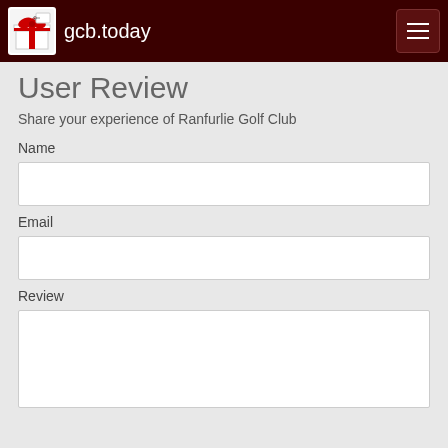gcb.today
User Review
Share your experience of Ranfurlie Golf Club
Name
Email
Review